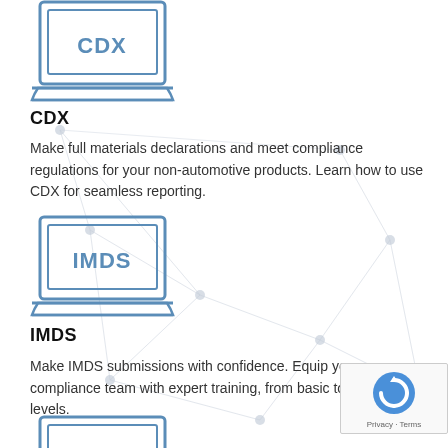[Figure (illustration): Laptop icon with 'CDX' text on screen, drawn in blue outline style]
CDX
Make full materials declarations and meet compliance regulations for your non-automotive products. Learn how to use CDX for seamless reporting.
[Figure (illustration): Laptop icon with 'IMDS' text on screen, drawn in blue outline style]
IMDS
Make IMDS submissions with confidence. Equip your compliance team with expert training, from basic to advanced levels.
[Figure (illustration): Partial laptop icon at the bottom of the page, drawn in blue outline style]